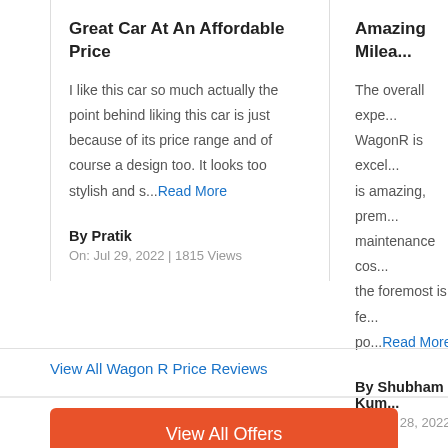Great Car At An Affordable Price
I like this car so much actually the point behind liking this car is just because of its price range and of course a design too. It looks too stylish and s...Read More
By Pratik
On: Jul 29, 2022 | 1815 Views
Amazing Milea...
The overall expe... WagonR is excel... is amazing, prem... maintenance cos... the foremost is fe... po...Read More
By Shubham Kum...
On: Jul 28, 2022 | 125...
View All Wagon R Price Reviews
View All Offers